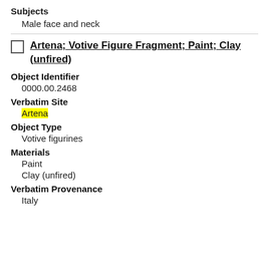Subjects
Male face and neck
Artena; Votive Figure Fragment; Paint; Clay (unfired)
Object Identifier
0000.00.2468
Verbatim Site
Artena
Object Type
Votive figurines
Materials
Paint
Clay (unfired)
Verbatim Provenance
Italy